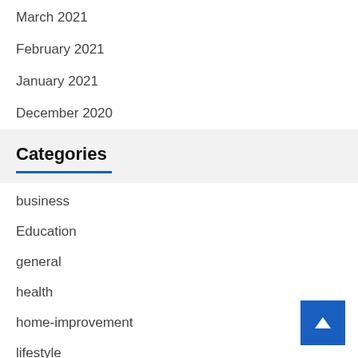March 2021
February 2021
January 2021
December 2020
Categories
business
Education
general
health
home-improvement
lifestyle
outdoor knife